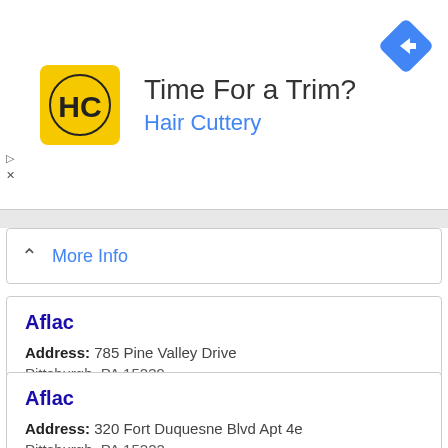[Figure (logo): Hair Cuttery advertisement banner with yellow HC logo, title 'Time For a Trim?', subtitle 'Hair Cuttery', and blue navigation diamond icon]
More Info
Aflac
Address: 785 Pine Valley Drive Pittsburgh, PA 15239
Phone: (724) 327-1352
» More Info
Aflac
Address: 320 Fort Duquesne Blvd Apt 4e Pittsburgh, PA 15222
Phone: (412) 391-3497